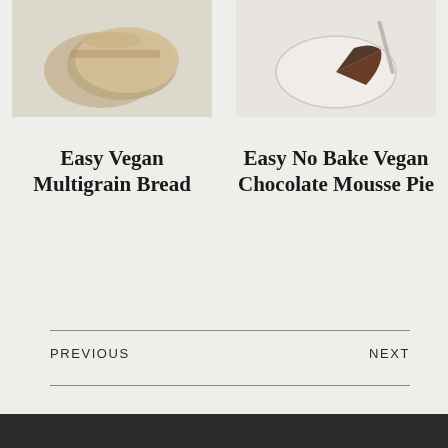[Figure (photo): Hamburger/menu icon with three horizontal lines]
[Figure (photo): Photo of sliced multigrain bread on a light background]
[Figure (photo): Photo of a chocolate mousse pie slice on a plate]
Easy Vegan Multigrain Bread
Easy No Bake Vegan Chocolate Mousse Pie
PREVIOUS
NEXT